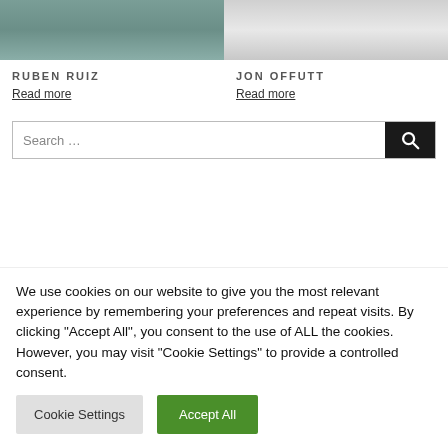[Figure (photo): Ceramic vase with green glaze and leaf design, cropped at bottom]
[Figure (photo): White ceramic bowl on dark background, cropped at bottom]
RUBEN RUIZ
Read more
JON OFFUTT
Read more
Search …
We use cookies on our website to give you the most relevant experience by remembering your preferences and repeat visits. By clicking "Accept All", you consent to the use of ALL the cookies. However, you may visit "Cookie Settings" to provide a controlled consent.
Cookie Settings
Accept All